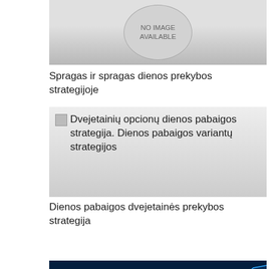[Figure (other): No image available placeholder with circle and text]
Spragas ir spragas dienos prekybos strategijoje
[Figure (other): Broken image placeholder with text overlay: Dvejetainių opcionų dienos pabaigos strategija. Dienos pabaigos variantų strategijos]
Dienos pabaigos dvejetainės prekybos strategija
[Figure (other): Trading chart screenshot showing candlestick/line chart on dark blue background]
Žalios naftos prekybos signalai
[Figure (photo): Partial image at bottom of page]